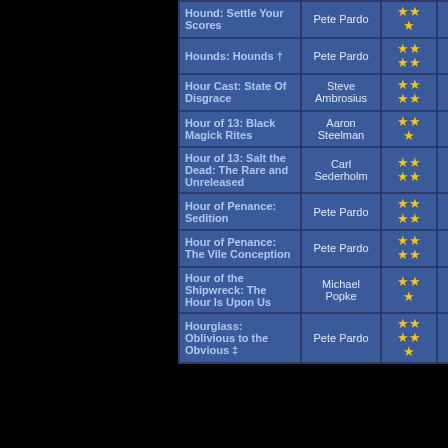| Title | Author | Stars | Score |
| --- | --- | --- | --- |
| Hound: Settle Your Scores | Pete Pardo | ★★★ | 1272 |
| Hounds: Hounds † | Pete Pardo | ★★★★ | 1319 |
| Hour Cast: State Of Disgrace | Steve Ambrosius | ★★★★ | 2292 |
| Hour of 13: Black Magick Rites | Aaron Steelman | ★★★ | 498 |
| Hour of 13: Salt the Dead: The Rare and Unreleased | Carl Sederholm | ★★★★ | 984 |
| Hour of Penance: Sedition | Pete Pardo | ★★★★ | 2387 |
| Hour of Penance: The Vile Conception | Pete Pardo | ★★★★ | 3475 |
| Hour of the Shipwreck: The Hour Is Upon Us | Michael Popke | ★★★ | 3038 |
| Hourglass: Oblivious to the Obvious ‡ | Pete Pardo | ★★★★ | 6220 |